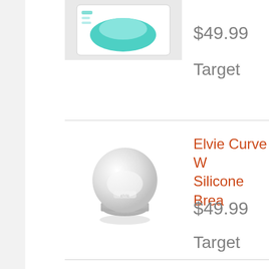[Figure (photo): Product image of a breast pump or nursing accessory in teal/white packaging]
$49.99
Target
[Figure (photo): Elvie Curve Wearable Silicone Breast pump - white spherical device]
Elvie Curve Wearable Silicone Breast...
$49.99
Target
[Figure (photo): Fridababy Soft baby bath - baby in a soft blue bath seat under a faucet]
Fridababy Soft Bath
$39.99
Target